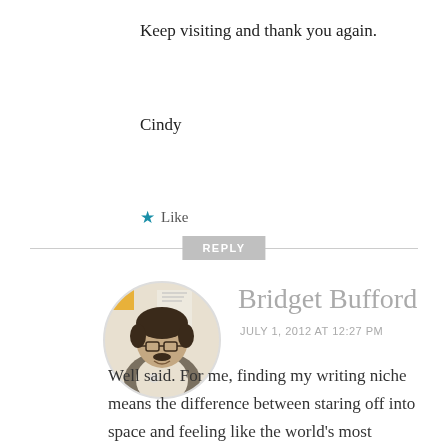Keep visiting and thank you again.
Cindy
★ Like
REPLY
Bridget Bufford
JULY 1, 2012 AT 12:27 PM
[Figure (photo): Circular avatar photo of Bridget Bufford, a person with short dark hair wearing glasses and a vest, standing in front of a wall with papers.]
Well said. For me, finding my writing niche means the difference between staring off into space and feeling like the world's most unproductive creative (which happens when I try to write at my beautiful